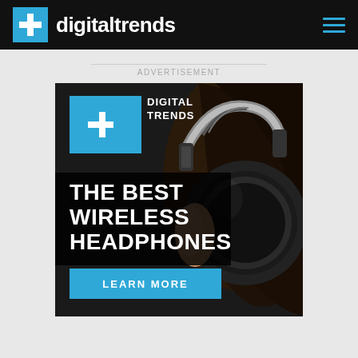digitaltrends
ADVERTISEMENT
[Figure (infographic): Digital Trends advertisement banner showing close-up of wireless headphones on a person's head. Text overlay reads 'THE BEST WIRELESS HEADPHONES' with a 'LEARN MORE' button and Digital Trends logo in the upper left.]